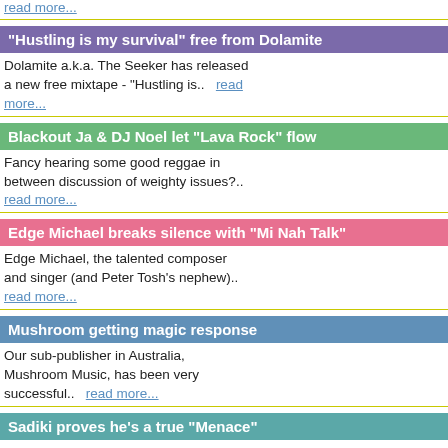read more...
"Hustling is my survival" free from Dolamite
Dolamite a.k.a. The Seeker has released a new free mixtape - "Hustling is..   read more...
Blackout Ja & DJ Noel let "Lava Rock" flow
Fancy hearing some good reggae in between discussion of weighty issues?.. read more...
Edge Michael breaks silence with "Mi Nah Talk"
Edge Michael, the talented composer and singer (and Peter Tosh's nephew).. read more...
Mushroom getting magic response
Our sub-publisher in Australia, Mushroom Music, has been very successful..   read more...
Sadiki proves he's a true "Menace"
"Menace Riddim", produced, mixed and arranged by Henry Buckley, Jr., a.k